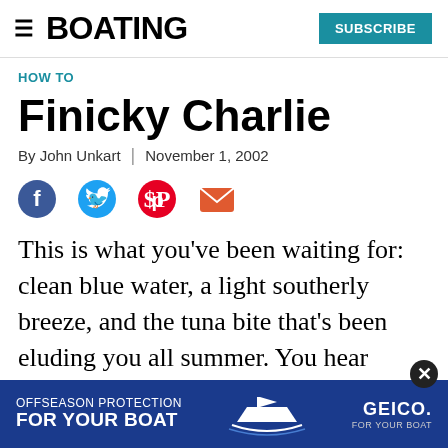BOATING | SUBSCRIBE
HOW TO
Finicky Charlie
By John Unkart | November 1, 2002
[Figure (infographic): Social sharing icons: Facebook, Twitter, Pinterest, Email]
This is what you've been waiting for: clean blue water, a light southerly breeze, and the tuna bite that's been eluding you all summer. You hear shouts of joy from boats nearby as check with the sinob shows swinging gaffs
[Figure (infographic): GEICO advertisement banner: OFFSEASON PROTECTION FOR YOUR BOAT with boat graphic and GEICO FOR YOUR BOAT logo]